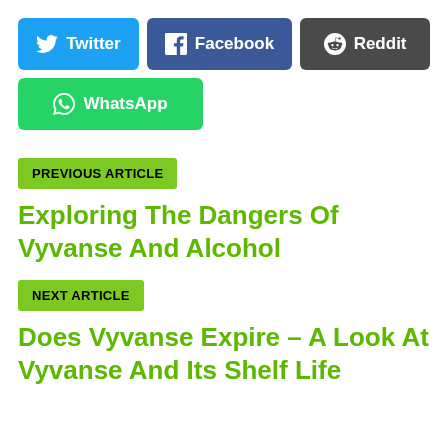[Figure (other): Social share buttons: Twitter (blue), Facebook (dark blue), Reddit (dark grey), WhatsApp (green)]
PREVIOUS ARTICLE
Exploring The Dangers Of Vyvanse And Alcohol
NEXT ARTICLE
Does Vyvanse Expire – A Look At Vyvanse And Its Shelf Life